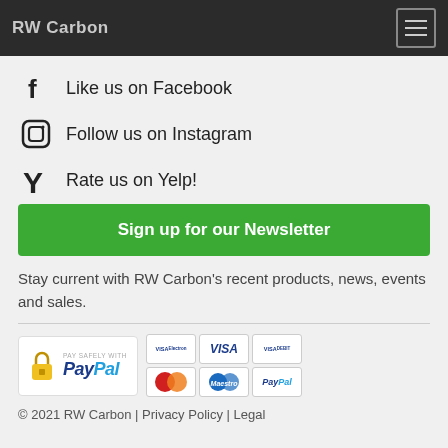RW Carbon
Like us on Facebook
Follow us on Instagram
Rate us on Yelp!
Sign up for our Newsletter
Stay current with RW Carbon's recent products, news, events and sales.
[Figure (other): PayPal payment badge with card logos: Visa Electron, Visa, Visa Debit, MasterCard, Maestro, PayPal]
© 2021 RW Carbon | Privacy Policy | Legal